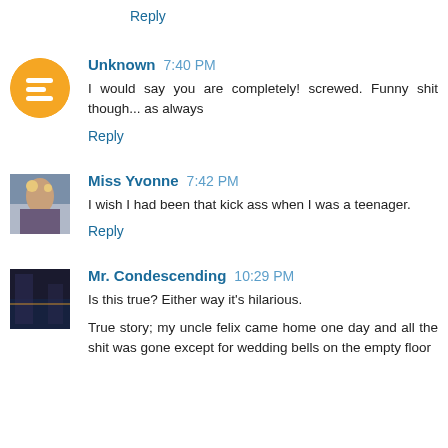Reply
Unknown  7:40 PM
I would say you are completely! screwed. Funny shit though... as always
Reply
Miss Yvonne  7:42 PM
I wish I had been that kick ass when I was a teenager.
Reply
Mr. Condescending  10:29 PM
Is this true? Either way it's hilarious.

True story; my uncle felix came home one day and all the shit was gone except for wedding bells on the empty floor